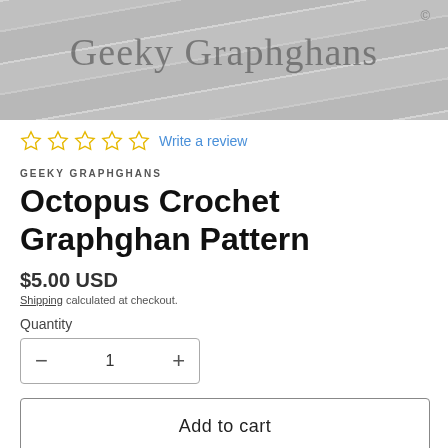[Figure (photo): Product photo banner showing 'Geeky Graphghans' brand name watermark overlaid on a white wood plank background]
☆ ☆ ☆ ☆ ☆  Write a review
GEEKY GRAPHGHANS
Octopus Crochet Graphghan Pattern
$5.00 USD
Shipping calculated at checkout.
Quantity
− 1 +
Add to cart